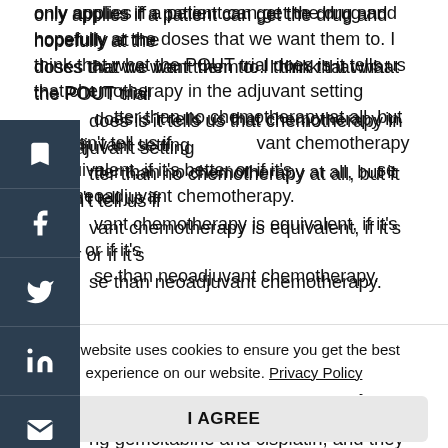only applies if a patient can get the drug and hopefully at the doses that we want them to. I think that what the POUT trial does is it tells us that chemotherapy in the adjuvant setting is better than no chemotherapy at all, but it doesn't tell us if adjuvant chemotherapy is equivalent, if it's better or if it's worse than neoadjuvant chemotherapy.
I worry because we'd have to compromise a little bit on the doses we saw in the POUT study. Patients weren't all receiving gemcitabine and cisplatin, and they weren't all completing the cycles, I worry about the impact of that on the overall response. If I can get the chemotherapy in before surgery, I think I'm doing the patient a benefit.
I think though you need to be smart and you need to be watching the patients closely. If you feel that they are
This website uses cookies to ensure you get the best experience on our website. Privacy Policy
I AGREE